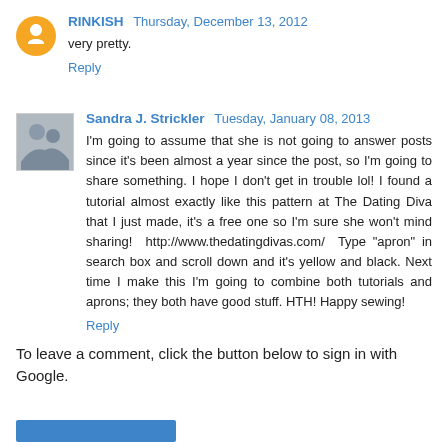RINKISH  Thursday, December 13, 2012
very pretty.
Reply
Sandra J. Strickler  Tuesday, January 08, 2013
I'm going to assume that she is not going to answer posts since it's been almost a year since the post, so I'm going to share something. I hope I don't get in trouble lol! I found a tutorial almost exactly like this pattern at The Dating Diva that I just made, it's a free one so I'm sure she won't mind sharing!  http://www.thedatingdivas.com/  Type "apron" in search box and scroll down and it's yellow and black. Next time I make this I'm going to combine both tutorials and aprons; they both have good stuff. HTH! Happy sewing!
Reply
To leave a comment, click the button below to sign in with Google.